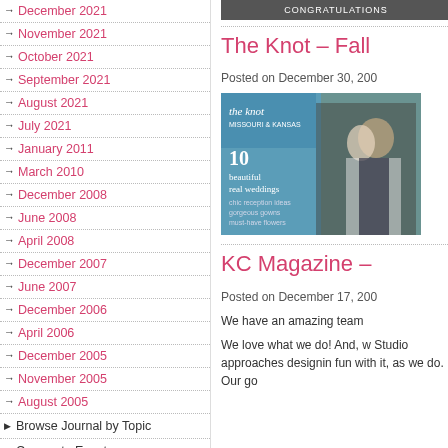December 2021
November 2021
October 2021
September 2021
August 2021
July 2021
January 2011
March 2010
December 2008
June 2008
April 2008
December 2007
June 2007
December 2006
April 2006
December 2005
November 2005
August 2005
Browse Journal by Topic
Corporate Events
Press
[Figure (photo): The Knot magazine cover showing a couple, with text '10 beautiful real weddings', 'chic reception ideas', 'gorgeous gowns', 'must-have flowers']
The Knot – Fall
Posted on December 30, 200
KC Magazine –
Posted on December 17, 200
We have an amazing team
We love what we do! And, w Studio approaches designin fun with it, as we do. Our go
[Figure (screenshot): CONGRATULATIONS banner/header in dark background]